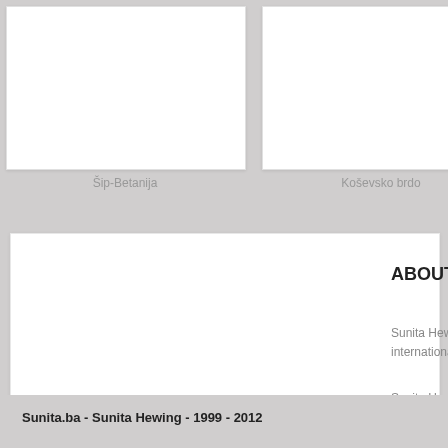[Figure (photo): Top left image card - Šip-Betanija area photo]
Šip-Betanija
[Figure (photo): Top right image card - Koševsko brdo area photo]
Koševsko brdo
ABOUT SUNITA
Sunita Hewing real estate agent specializing in international comm...
Sunita Hewing, age... surađuje sa medžu... Sarajevu od 1999.
Sunita.ba - Sunita Hewing - 1999 - 2012